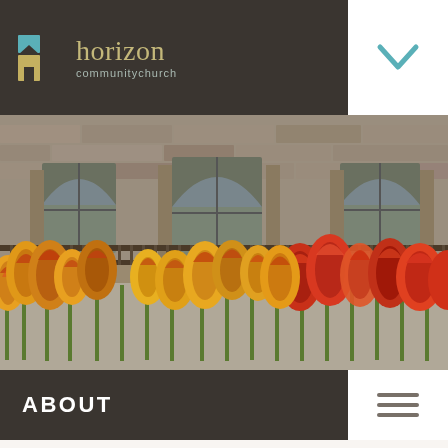[Figure (logo): Horizon Community Church logo with building icon and stylized text]
[Figure (photo): Stone church building exterior with arched windows, iron railings, and red/yellow tulips in foreground]
ABOUT
Yours to Explore.
That motto is what Horizon Community Church is all about, and in